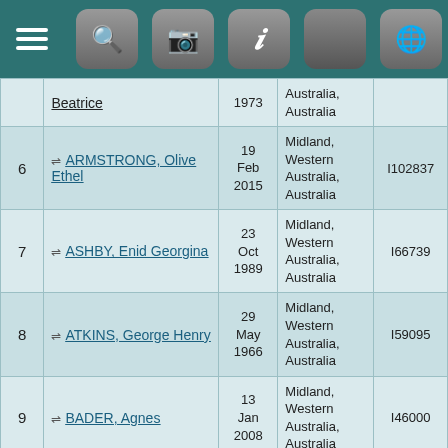| # | Name | Date | Location | ID |
| --- | --- | --- | --- | --- |
|  | Beatrice | 1973 | Australia, Australia |  |
| 6 | ARMSTRONG, Olive Ethel | 19 Feb 2015 | Midland, Western Australia, Australia | I102837 |
| 7 | ASHBY, Enid Georgina | 23 Oct 1989 | Midland, Western Australia, Australia | I66739 |
| 8 | ATKINS, George Henry | 29 May 1966 | Midland, Western Australia, Australia | I59095 |
| 9 | BADER, Agnes | 13 Jan 2008 | Midland, Western Australia, Australia | I46000 |
| 10 | BALDINI, Alma | 10 Jul 2007 | Midland, Western Australia, Australia | I68286 |
| 11 | BALL, Ada Georgina | 26 Jun 1987 | Midland, Western Australia, Australia | I23053 |